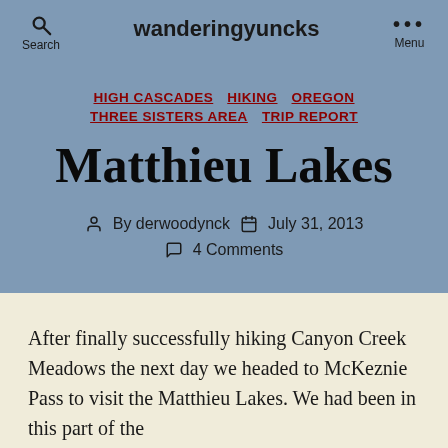wanderingyuncks
HIGH CASCADES  HIKING  OREGON  THREE SISTERS AREA  TRIP REPORT
Matthieu Lakes
By derwoodynck   July 31, 2013   4 Comments
After finally successfully hiking Canyon Creek Meadows the next day we headed to McKeznie Pass to visit the Matthieu Lakes. We had been in this part of the